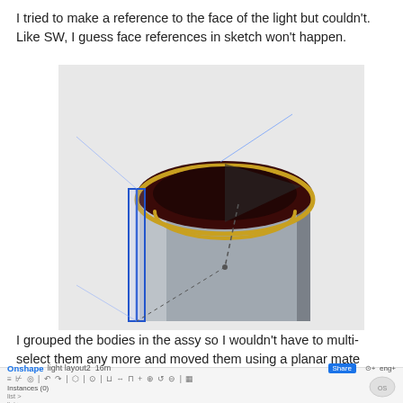I tried to make a reference to the face of the light but couldn't. Like SW, I guess face references in sketch won't happen.
[Figure (screenshot): 3D CAD screenshot from Onshape showing a cylindrical part with a dark red/maroon top cap, a gray cylindrical body, a gold/yellow ring on the cap edge, a blue vertical line on the left side indicating a sketch plane, and a dashed line indicating a reference or dimension.]
I grouped the bodies in the assy so I wouldn't have to multi-select them any more and moved them using a planar mate connector.
Onshape light layout2  ≡ ⊬ ◎ | ↶ ↷ | ⬡ | ⊙ | ⊔ ↔ ⊓ + ⊕ ↺ ⊖ | ▦  Instances (0)  list items  Share